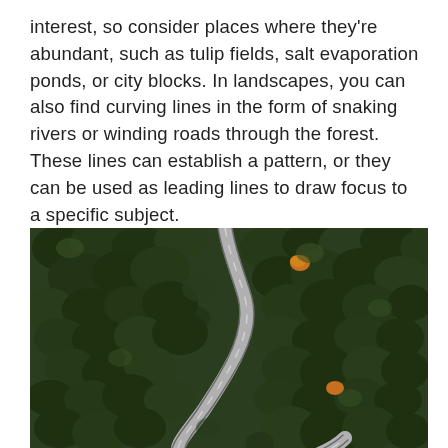interest, so consider places where they're abundant, such as tulip fields, salt evaporation ponds, or city blocks. In landscapes, you can also find curving lines in the form of snaking rivers or winding roads through the forest. These lines can establish a pattern, or they can be used as leading lines to draw focus to a specific subject.
[Figure (photo): Aerial view of a winding road curving through a dense green forest, photographed from above showing the road snaking in hairpin-like curves through the dark green conifer trees.]